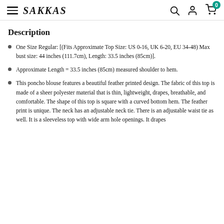SAKKAS
Description
One Size Regular: [(Fits Approximate Top Size: US 0-16, UK 6-20, EU 34-48) Max bust size: 44 inches (111.7cm), Length: 33.5 inches (85cm)].
Approximate Length = 33.5 inches (85cm) measured shoulder to hem.
This poncho blouse features a beautiful feather printed design. The fabric of this top is made of a sheer polyester material that is thin, lightweight, drapes, breathable, and comfortable. The shape of this top is square with a curved bottom hem. The feather print is unique. The neck has an adjustable neck tie. There is an adjustable waist tie as well. It is a sleeveless top with wide arm hole openings. It drapes